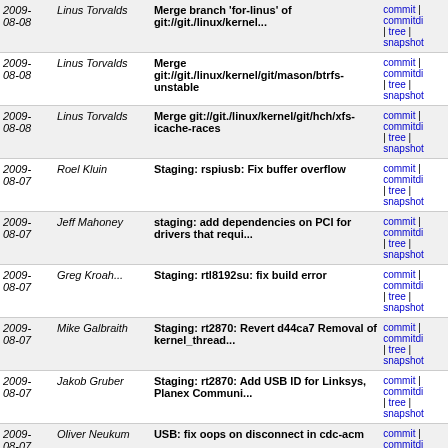| Date | Author | Message | Links |
| --- | --- | --- | --- |
| 2009-08-08 | Linus Torvalds | Merge branch 'for-linus' of git://git./linux/kernel... | commit | commitdi | tree | snapshot |
| 2009-08-08 | Linus Torvalds | Merge git://git./linux/kernel/git/mason/btrfs-unstable | commit | commitdi | tree | snapshot |
| 2009-08-08 | Linus Torvalds | Merge git://git./linux/kernel/git/hch/xfs-icache-races | commit | commitdi | tree | snapshot |
| 2009-08-07 | Roel Kluin | Staging: rspiusb: Fix buffer overflow | commit | commitdi | tree | snapshot |
| 2009-08-07 | Jeff Mahoney | staging: add dependencies on PCI for drivers that requi... | commit | commitdi | tree | snapshot |
| 2009-08-07 | Greg Kroah... | Staging: rtl8192su: fix build error | commit | commitdi | tree | snapshot |
| 2009-08-07 | Mike Galbraith | Staging: rt2870: Revert d44ca7 Removal of kernel_thread... | commit | commitdi | tree | snapshot |
| 2009-08-07 | Jakob Gruber | Staging: rt2870: Add USB ID for Linksys, Planex Communi... | commit | commitdi | tree | snapshot |
| 2009-08-07 | Oliver Neukum | USB: fix oops on disconnect in cdc-acm | commit | commitdi | tree | snapshot |
| 2009-08-07 | Rogerio Brito | USB: storage: include Prolific Technology USB drive | commit | commitdi | tree | snapshot |